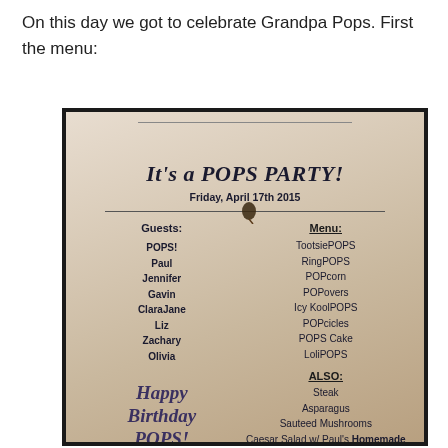On this day we got to celebrate Grandpa Pops.  First the menu:
[Figure (photo): A photograph of a party menu card for 'It's a POPS PARTY!' dated Friday, April 17th 2015, listing guests (POPS!, Paul, Jennifer, Gavin, ClaraJane, Liz, Zachary, Olivia) and menu items (TootsiePOPS, RingPOPS, POPcorn, POPovers, Icy KoolPOPS, POPcicles, POPS Cake, LoliPOPS) plus also: Steak, Asparagus, Sauteed Mushrooms, Caesar Salad w/ Paul's Homemade Croutons), with 'Happy Birthday POPS!' in script at the bottom left.]